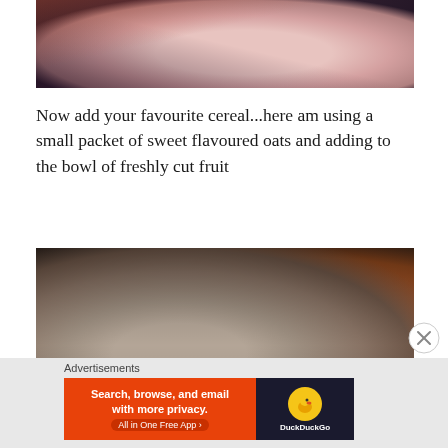[Figure (photo): Partial view of a bowl with food, dark background with reddish tones visible at top of page]
Now add your favourite cereal...here am using a small packet of sweet flavoured oats and adding to the bowl of freshly cut fruit
[Figure (photo): Bowl of oats/cereal with fruit, showing granular oat texture on the left and orange fruit on the right, dark surrounding]
Advertisements  Search, browse, and email with more privacy. All in One Free App  DuckDuckGo